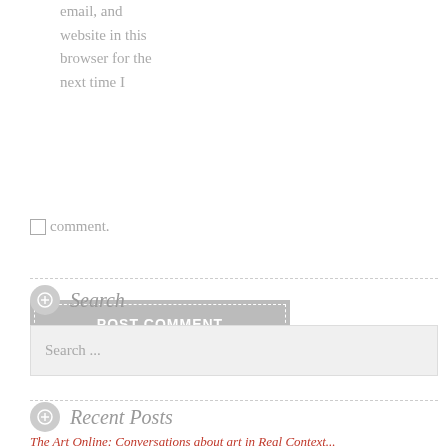email, and website in this browser for the next time I
comment.
[Figure (other): POST COMMENT button with dashed white border inside grey rectangle]
Search
Search ...
Recent Posts
The Art Online: Conversations about art in Real Context...